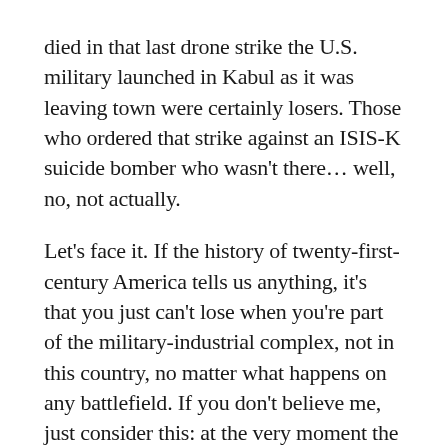died in that last drone strike the U.S. military launched in Kabul as it was leaving town were certainly losers. Those who ordered that strike against an ISIS-K suicide bomber who wasn't there… well, no, not actually.
Let's face it. If the history of twenty-first-century America tells us anything, it's that you just can't lose when you're part of the military-industrial complex, not in this country, no matter what happens on any battlefield. If you don't believe me, just consider this: at the very moment the U.S. military chaotically prepared to leave Kabul and head for home in apparent defeat, the relevant Senate and House committees, Democrats and Republicans alike, agreed to